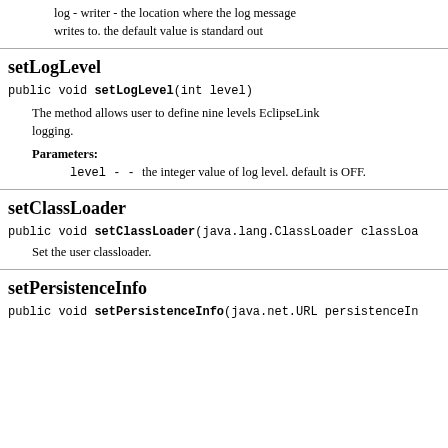log - writer - the location where the log message writes to. the default value is standard out
setLogLevel
public void setLogLevel(int level)
The method allows user to define nine levels EclipseLink logging.
Parameters:
level - - the integer value of log level. default is OFF.
setClassLoader
public void setClassLoader(java.lang.ClassLoader classLoa
Set the user classloader.
setPersistenceInfo
public void setPersistenceInfo(java.net.URL persistenceIn